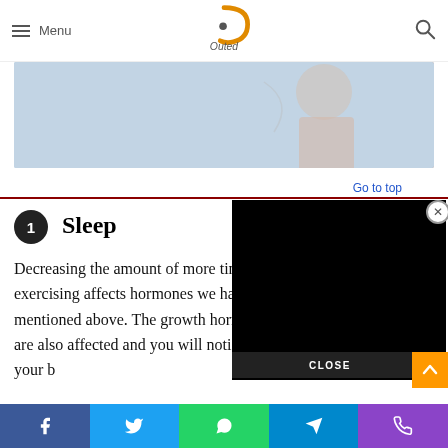Menu | [Logo: Outed] | [Search icon]
[Figure (photo): Hero image of a woman exercising outdoors with blue sky background]
Go to top
1 Sleep
Decreasing the amount of more time in exercising affects hormones we have mentioned above. The growth hormones are also affected and you will notice that your b[ody is missing a sleep...]
[Figure (screenshot): Black video player overlay with close button and CLOSE bar]
[Facebook] [Twitter] [WhatsApp] [Telegram] [Phone]